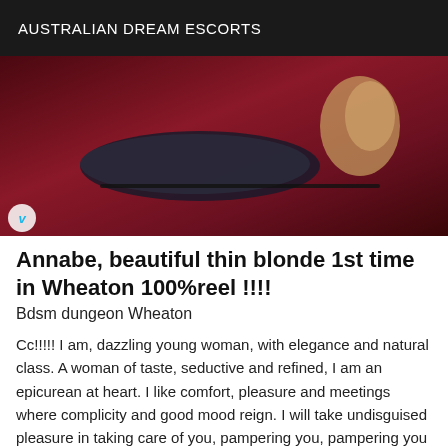AUSTRALIAN DREAM ESCORTS
[Figure (photo): A photograph showing adult novelty items on a red surface, with a Vimeo watermark badge in the bottom left corner.]
Annabe, beautiful thin blonde 1st time in Wheaton 100%reel !!!!
Bdsm dungeon Wheaton
Cc!!!!! I am, dazzling young woman, with elegance and natural class. A woman of taste, seductive and refined, I am an epicurean at heart. I like comfort, pleasure and meetings where complicity and good mood reign. I will take undisguised pleasure in taking care of you, pampering you, pampering you and much more... My natural spontaneity and my liveliness of mind combined